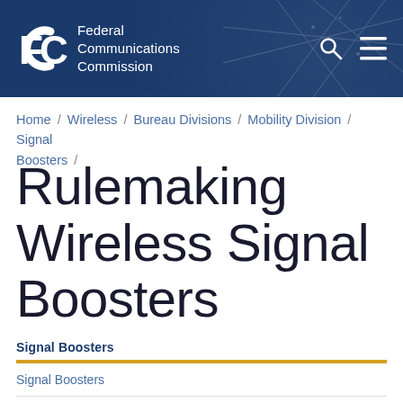Federal Communications Commission
Home / Wireless / Bureau Divisions / Mobility Division / Signal Boosters /
Rulemaking Wireless Signal Boosters
Signal Boosters
Signal Boosters